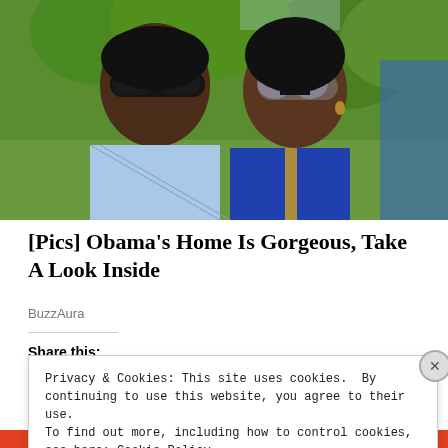[Figure (photo): Photo of two people wearing sunglasses outdoors with green trees in background. A man in a blue checkered shirt and a woman in a blue top.]
[Pics] Obama's Home Is Gorgeous, Take A Look Inside
BuzzAura
Share this:
Privacy & Cookies: This site uses cookies. By continuing to use this website, you agree to their use.
To find out more, including how to control cookies, see here: Cookie Policy
Close and accept